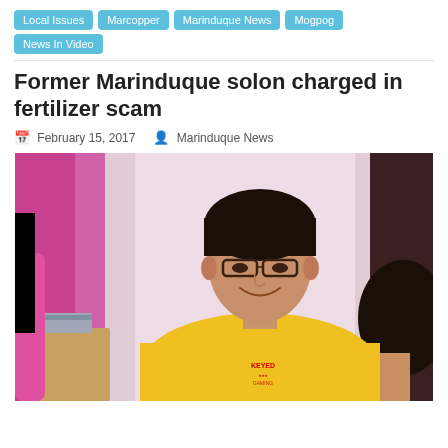Local Issues
Marcopper
Marinduque News
Mogpog
News In Video
Former Marinduque solon charged in fertilizer scam
February 15, 2017   Marinduque News
[Figure (photo): A man in a yellow t-shirt with a logo smiling, seated indoors with a pinkish-purple background on the left side and a lighter wall on the right; another person's head visible at right edge.]